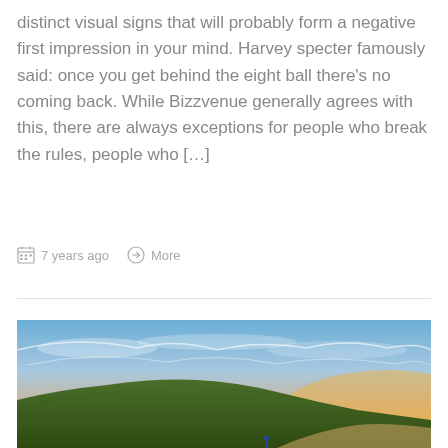distinct visual signs that will probably form a negative first impression in your mind. Harvey specter famously said: once you get behind the eight ball there's no coming back. While Bizzvenue generally agrees with this, there are always exceptions for people who break the rules, people who […]
7 years ago   More
[Figure (photo): Landscape photo showing a green hillside under a dramatic sky with warm sunset light and wispy clouds]